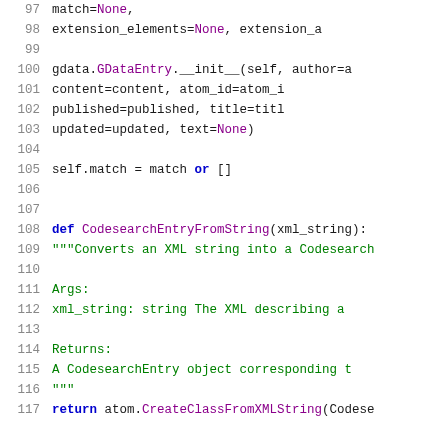Code snippet lines 97-117 showing Python source code for CodesearchEntry class and CodesearchEntryFromString function